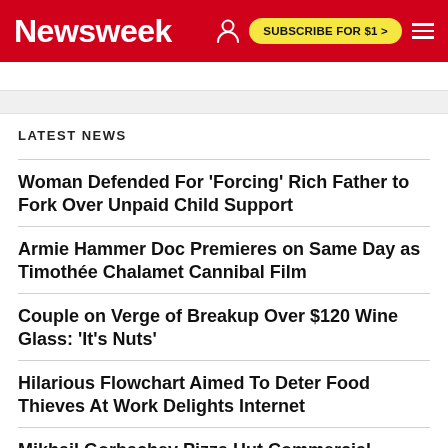Newsweek | SUBSCRIBE FOR $1 >
LATEST NEWS
Woman Defended For 'Forcing' Rich Father to Fork Over Unpaid Child Support
Armie Hammer Doc Premieres on Same Day as Timothée Chalamet Cannibal Film
Couple on Verge of Breakup Over $120 Wine Glass: 'It's Nuts'
Hilarious Flowchart Aimed To Deter Food Thieves At Work Delights Internet
Mikhail Gorbachev Pizza Hut Commercial Resurfaces After Soviet Leader Dies